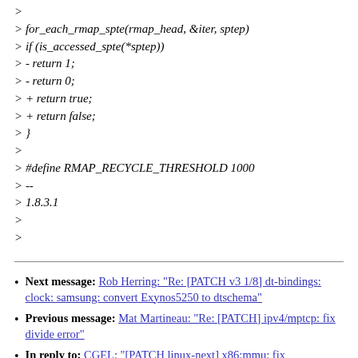> for_each_rmap_spte(rmap_head, &iter, sptep)
> if (is_accessed_spte(*sptep))
> - return 1;
> - return 0;
> + return true;
> + return false;
> }
>
> #define RMAP_RECYCLE_THRESHOLD 1000
> --
> 1.8.3.1
>
>
Next message: Rob Herring: "Re: [PATCH v3 1/8] dt-bindings: clock: samsung: convert Exynos5250 to dtschema"
Previous message: Mat Martineau: "Re: [PATCH] ipv4/mptcp: fix divide error"
In reply to: CGEL: "[PATCH linux-next] x86:mmu: fix boolreturn.cocci warnings"
Messages sorted by: [ date ] [ thread ] [ subject ] [ author ]